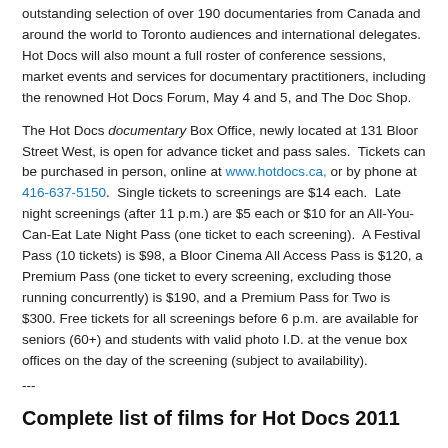outstanding selection of over 190 documentaries from Canada and around the world to Toronto audiences and international delegates.  Hot Docs will also mount a full roster of conference sessions, market events and services for documentary practitioners, including the renowned Hot Docs Forum, May 4 and 5, and The Doc Shop.
The Hot Docs documentary Box Office, newly located at 131 Bloor Street West, is open for advance ticket and pass sales.  Tickets can be purchased in person, online at www.hotdocs.ca, or by phone at 416-637-5150.  Single tickets to screenings are $14 each.  Late night screenings (after 11 p.m.) are $5 each or $10 for an All-You-Can-Eat Late Night Pass (one ticket to each screening).  A Festival Pass (10 tickets) is $98, a Bloor Cinema All Access Pass is $120, a Premium Pass (one ticket to every screening, excluding those running concurrently) is $190, and a Premium Pass for Two is $300. Free tickets for all screenings before 6 p.m. are available for seniors (60+) and students with valid photo I.D. at the venue box offices on the day of the screening (subject to availability).
---
Complete list of films for Hot Docs 2011
| Title | Program |
| --- | --- |